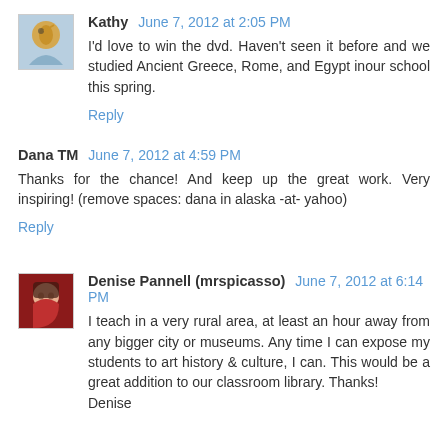Kathy June 7, 2012 at 2:05 PM
I'd love to win the dvd. Haven't seen it before and we studied Ancient Greece, Rome, and Egypt inour school this spring.
Reply
Dana TM June 7, 2012 at 4:59 PM
Thanks for the chance! And keep up the great work. Very inspiring! (remove spaces: dana in alaska -at- yahoo)
Reply
Denise Pannell (mrspicasso) June 7, 2012 at 6:14 PM
I teach in a very rural area, at least an hour away from any bigger city or museums. Any time I can expose my students to art history & culture, I can. This would be a great addition to our classroom library. Thanks! Denise